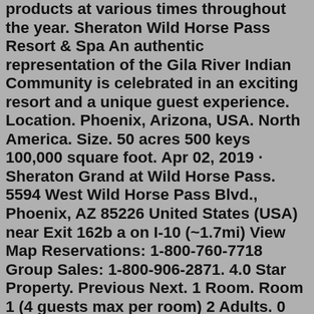products at various times throughout the year. Sheraton Wild Horse Pass Resort & Spa An authentic representation of the Gila River Indian Community is celebrated in an exciting resort and a unique guest experience. Location. Phoenix, Arizona, USA. North America. Size. 50 acres 500 keys 100,000 square foot. Apr 02, 2019 · Sheraton Grand at Wild Horse Pass. 5594 West Wild Horse Pass Blvd., Phoenix, AZ 85226 United States (USA) near Exit 162b a on I-10 (~1.7mi) View Map Reservations: 1-800-760-7718 Group Sales: 1-800-906-2871. 4.0 Star Property. Previous Next. 1 Room. Room 1 (4 guests max per room) 2 Adults. 0 Children. Add Promo Or Package Code. Additional Discounts for Military, First Responders, Students, & Teachers. Check Best Rates. Existing Reservation. Best Rate Guarantee. 25K NEW MEMBERSWEEPSTAKES. Sign up for THE Card by Gila River Hotels & Casinos at the Players Club and instantly win up to $1,000 FREE BONUS PLAY and enter to be one of 10 lucky winners of $2,500 FREE BONUS PLAY! INSTANT FREE BONUS